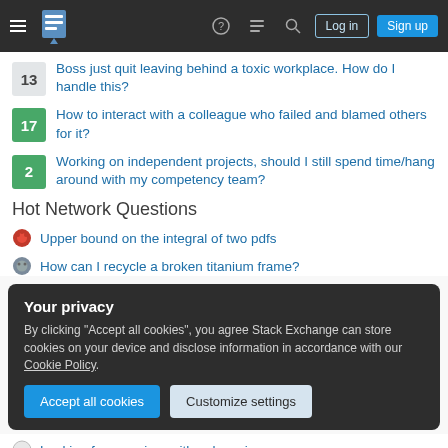Stack Exchange navigation bar with hamburger menu, logo, help, chat, search icons, Log in and Sign up buttons
13 — Boss just quit leaving behind a toxic workplace. How do I handle this?
17 — How to interact with a colleague who failed and blamed others for it?
2 — Working on independent projects, should I still spend time/hang around with my competency team?
Hot Network Questions
Upper bound on the integral of two pdfs
How can I recycle a broken titanium frame?
Your privacy — By clicking "Accept all cookies", you agree Stack Exchange can store cookies on your device and disclose information in accordance with our Cookie Policy.
Looking for an anime with only an image